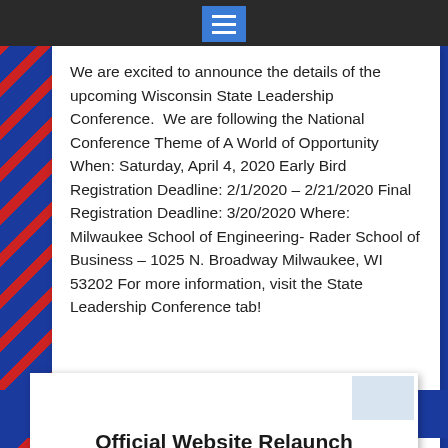[Figure (screenshot): Dark navigation bar with blue hamburger menu icon in the center]
We are excited to announce the details of the upcoming Wisconsin State Leadership Conference.  We are following the National Conference Theme of A World of Opportunity When: Saturday, April 4, 2020 Early Bird Registration Deadline: 2/1/2020 – 2/21/2020 Final Registration Deadline: 3/20/2020 Where: Milwaukee School of Engineering- Rader School of Business – 1025 N. Broadway Milwaukee, WI 53202 For more information, visit the State Leadership Conference tab!
Read More →
Official Website Relaunch